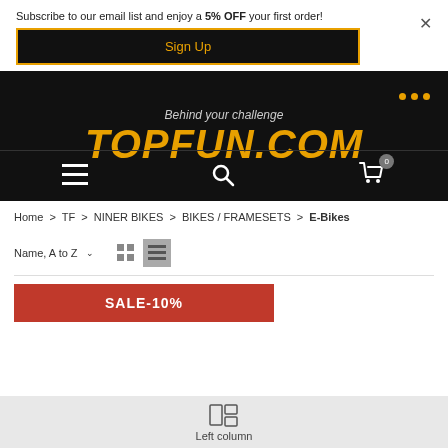Subscribe to our email list and enjoy a 5% OFF your first order!
Sign Up
[Figure (logo): TOPFUN.COM logo with tagline 'Behind your challenge' on black background]
Home > TF > NINER BIKES > BIKES / FRAMESETS > E-Bikes
Name, A to Z
SALE-10%
Left column